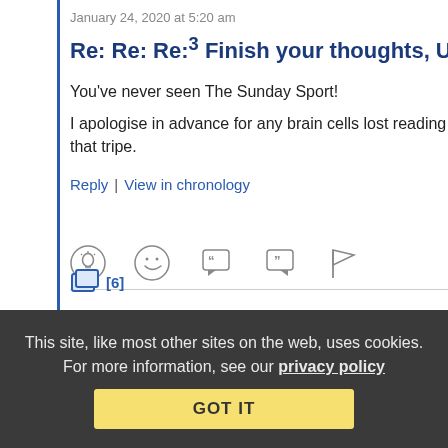January 24, 2020 at 5:20 am
Re: Re: Re:³ Finish your thoughts, Uriel ;P
You've never seen The Sunday Sport!
I apologise in advance for any brain cells lost reading that tripe.
Reply | View in chronology
[Figure (infographic): Row of forum reaction icons: lightbulb, laughing face, open-quote speech bubble, close-quote speech bubble, flag]
[Figure (infographic): Thread/comment icon with count [6]]
This site, like most other sites on the web, uses cookies. For more information, see our privacy policy
GOT IT